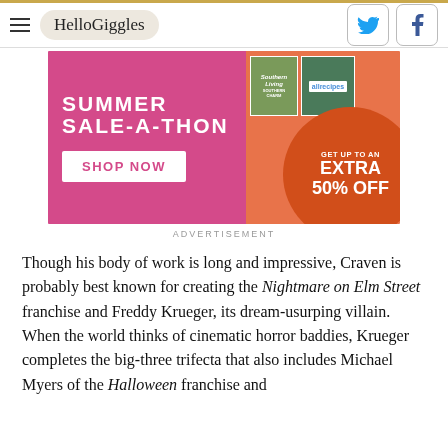HelloGiggles
[Figure (infographic): Summer Sale-A-Thon advertisement with Shop Now button and Get Up To An Extra 50% Off orange circle, featuring magazine covers for Southern Living and AllRecipes]
ADVERTISEMENT
Though his body of work is long and impressive, Craven is probably best known for creating the Nightmare on Elm Street franchise and Freddy Krueger, its dream-usurping villain. When the world thinks of cinematic horror baddies, Krueger completes the big-three trifecta that also includes Michael Myers of the Halloween franchise and